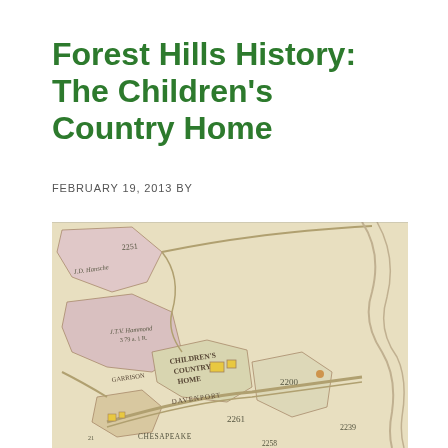Forest Hills History: The Children's Country Home
FEBRUARY 19, 2013 BY
[Figure (map): Antique cadastral/survey map showing land parcels in the Forest Hills area, including labeled properties: J.D. Hansche, J.T.V. Hammond, Children's Country Home, Chesapeake, and parcel numbers 2251, 2200, 2261, 2239, 2258. Roads including Davenport are shown. The Children's Country Home parcel is highlighted with yellow building footprints.]